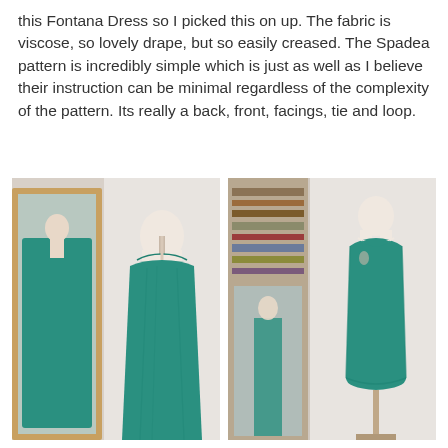this Fontana Dress so I picked this on up.  The fabric is viscose, so lovely drape, but so easily creased.  The Spadea pattern is incredibly simple which is just as well as I believe their instruction can be minimal regardless of the complexity of the pattern.  Its really a back, front, facings, tie and loop.
[Figure (photo): A teal/green sleeveless maxi dress on a dressmaker's mannequin, shown in front of a wooden-framed mirror. The dress is floor-length with draped/gathered fabric at the bust, showing both front and back reflection.]
[Figure (photo): A teal/green sleeveless fitted shift dress on a dressmaker's mannequin, knee-length. Shows a distinctive curved cutout neckline at front and keyhole opening at back. Room with bookshelves visible in background.]